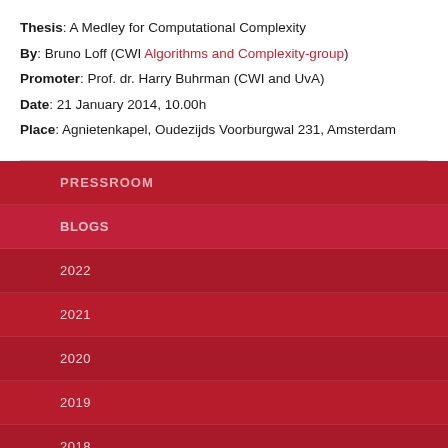Thesis: A Medley for Computational Complexity
By: Bruno Loff (CWI Algorithms and Complexity-group)
Promoter: Prof. dr. Harry Buhrman (CWI and UvA)
Date: 21 January 2014, 10.00h
Place: Agnietenkapel, Oudezijds Voorburgwal 231, Amsterdam
PRESSROOM
BLOGS
2022
2021
2020
2019
2018
2017